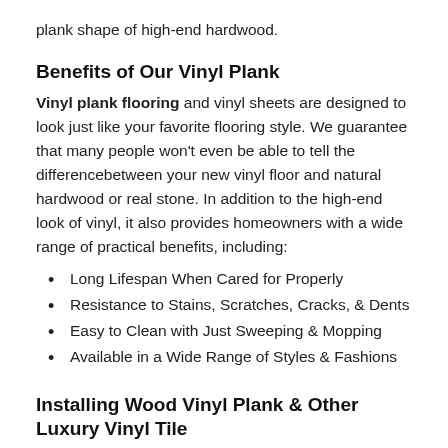plank shape of high-end hardwood.
Benefits of Our Vinyl Plank
Vinyl plank flooring and vinyl sheets are designed to look just like your favorite flooring style. We guarantee that many people won't even be able to tell the differencebetween your new vinyl floor and natural hardwood or real stone. In addition to the high-end look of vinyl, it also provides homeowners with a wide range of practical benefits, including:
Long Lifespan When Cared for Properly
Resistance to Stains, Scratches, Cracks, & Dents
Easy to Clean with Just Sweeping & Mopping
Available in a Wide Range of Styles & Fashions
Installing Wood Vinyl Plank & Other Luxury Vinyl Tile
Exemplary customer service goes beyond our showroom floor and into the homes of our clients. Our experienced in-house